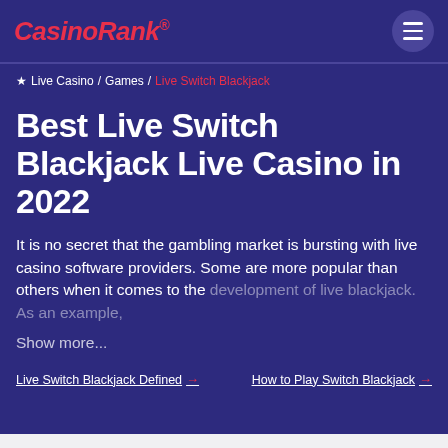CasinoRank®
★ Live Casino / Games / Live Switch Blackjack
Best Live Switch Blackjack Live Casino in 2022
It is no secret that the gambling market is bursting with live casino software providers. Some are more popular than others when it comes to the development of live blackjack. As an example,
Show more...
Live Switch Blackjack Defined → How to Play Switch Blackjack →